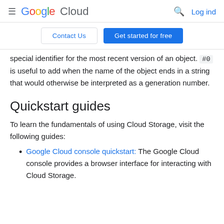Google Cloud  Log ind
Contact Us  Get started for free
special identifier for the most recent version of an object. #0 is useful to add when the name of the object ends in a string that would otherwise be interpreted as a generation number.
Quickstart guides
To learn the fundamentals of using Cloud Storage, visit the following guides:
Google Cloud console quickstart: The Google Cloud console provides a browser interface for interacting with Cloud Storage.